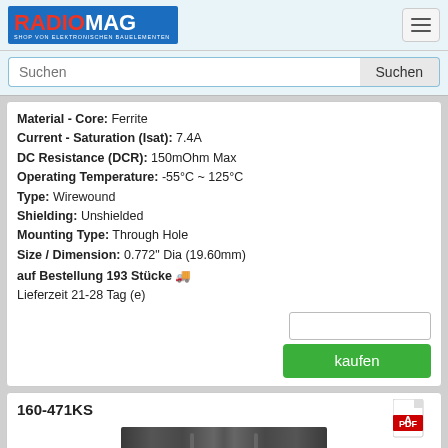RADIOMAG - SHOP VON ELEKTRONISCHEN BAUELEMENTEN
Material - Core: Ferrite
Current - Saturation (Isat): 7.4A
DC Resistance (DCR): 150mOhm Max
Operating Temperature: -55°C ~ 125°C
Type: Wirewound
Shielding: Unshielded
Mounting Type: Through Hole
Size / Dimension: 0.772" Dia (19.60mm)
auf Bestellung 193 Stücke
Lieferzeit 21-28 Tag (e)
kaufen
160-471KS
[Figure (photo): Product image of electronic component 160-471KS, dark gray rectangular component]